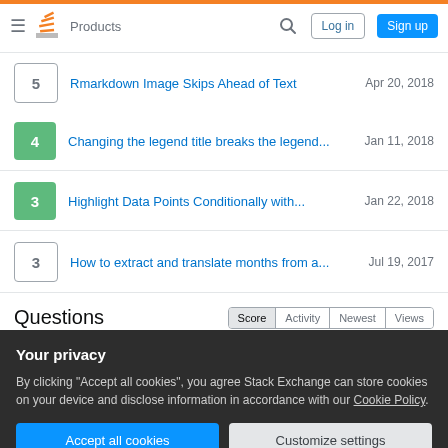≡ [Stack Overflow logo] Products 🔍 Log in Sign up
5 | Rmarkdown Image Skips Ahead of Text | Apr 20, 2018
4 | Changing the legend title breaks the legend... | Jan 11, 2018
3 | Highlight Data Points Conditionally with... | Jan 22, 2018
3 | How to extract and translate months from a... | Jul 19, 2017
Questions  Score  Activity  Newest  Views
Your privacy
By clicking "Accept all cookies", you agree Stack Exchange can store cookies on your device and disclose information in accordance with our Cookie Policy.
Accept all cookies  Customize settings
2 | rnbinom in R returns error that says optiona... | Jan 30, 2017